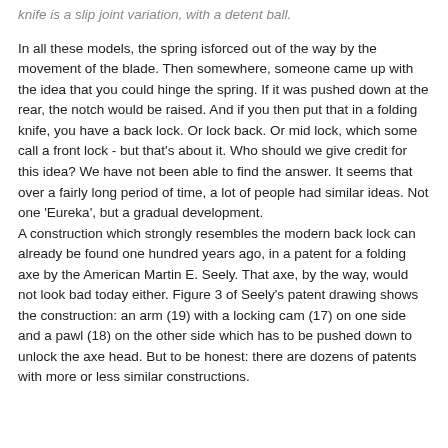knife is a slip joint variation, with a detent ball.
In all these models, the spring isforced out of the way by the movement of the blade. Then somewhere, someone came up with the idea that you could hinge the spring. If it was pushed down at the rear, the notch would be raised. And if you then put that in a folding knife, you have a back lock. Or lock back. Or mid lock, which some call a front lock - but that's about it. Who should we give credit for this idea? We have not been able to find the answer. It seems that over a fairly long period of time, a lot of people had similar ideas. Not one 'Eureka', but a gradual development.
A construction which strongly resembles the modern back lock can already be found one hundred years ago, in a patent for a folding axe by the American Martin E. Seely. That axe, by the way, would not look bad today either. Figure 3 of Seely's patent drawing shows the construction: an arm (19) with a locking cam (17) on one side and a pawl (18) on the other side which has to be pushed down to unlock the axe head. But to be honest: there are dozens of patents with more or less similar constructions.